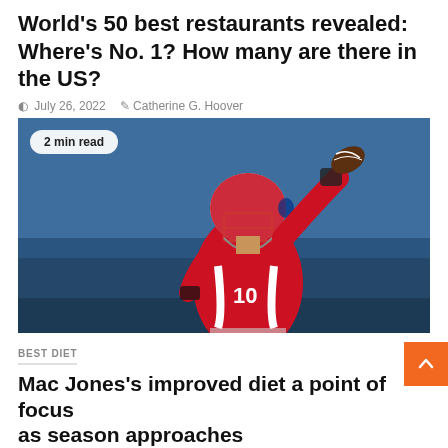World's 50 best restaurants revealed: Where's No. 1? How many are there in the US?
July 26, 2022   Catherine G. Hoover
[Figure (photo): NFL quarterback in red New England Patriots uniform and helmet throwing a football at practice, with a '2 min read' badge overlay in the top left]
BEST DIET
Mac Jones's improved diet a point of focus as season approaches